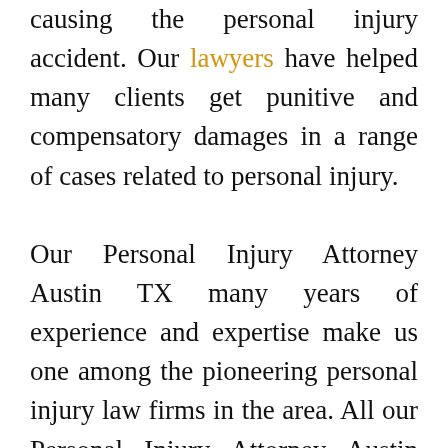causing the personal injury accident. Our lawyers have helped many clients get punitive and compensatory damages in a range of cases related to personal injury. Our Personal Injury Attorney Austin TX many years of experience and expertise make us one among the pioneering personal injury law firms in the area. All our Personal Injury Attorney Austin have extensive knowledge and years of experience of the personal injury law. We draw our wealth of knowledge in each client's case. Therefore, you'll never need to rely on any paralegal or other employee when working with us as you'll always be working with a Personal